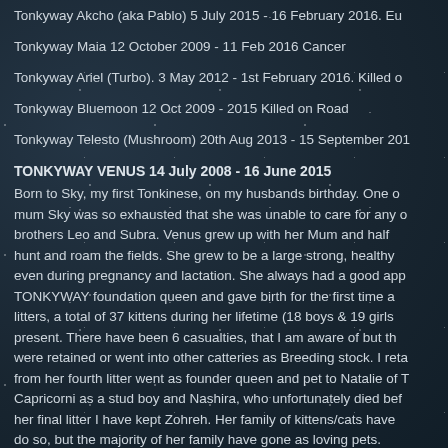Tonkyway Akcho (aka Pablo) 5 July 2015 - 16 February 2016. Eu...
Tonkyway Maia 12 October 2009 - 11 Feb 2016 Cancer
Tonkyway Ariel (Turbo). 3 May 2012 - 1st February 2016. Killed o...
Tonkyway Bluemoon 12 Oct 2009 - 2015 Killed on Road
Tonkyway Telesto (Mushroom) 20th Aug 2013 - 15 September 201...
TONKYWAY VENUS 14 July 2008 - 16 June 2015
Born to Sky, my first Tonkinese, on my husbands birthday. One c... mum Sky was so exhausted that she was unable to care for any o... brothers Leo and Subra. Venus grew up with her Mum and half ... hunt and roam the fields. She grew to be a large strong, healthy... even during pregnancy and lactation. She always had a good app... TONKYWAY foundation queen and gave birth for the first time a... litters, a total of 37 kittens during her lifetime (18 boys & 19 girls... present. There have been 6 casualties, that I am aware of but th... were retained or went into other catteries as Breeding stock. I reta... from her fourth litter went as founder queen and pet to Natalie of T... Capricorni as a stud boy and Nashira, who unfortunately died be... her final litter I have kept Zohreh. Her family of kittens/cats have ... do so, but the majority of her family have gone as loving pets.